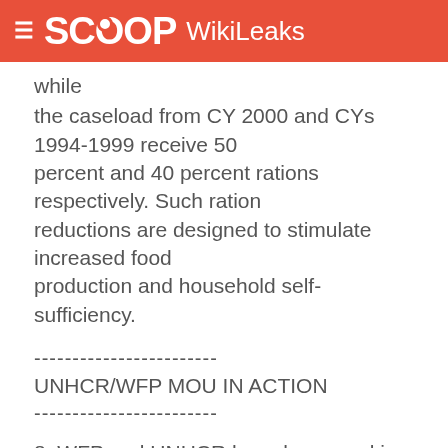SCOOP WikiLeaks
while the caseload from CY 2000 and CYs 1994-1999 receive 50 percent and 40 percent rations respectively. Such ration reductions are designed to stimulate increased food production and household self-sufficiency.
------------------------
UNHCR/WFP MOU IN ACTION
------------------------
8. WFP and UNHCR have been working together under a